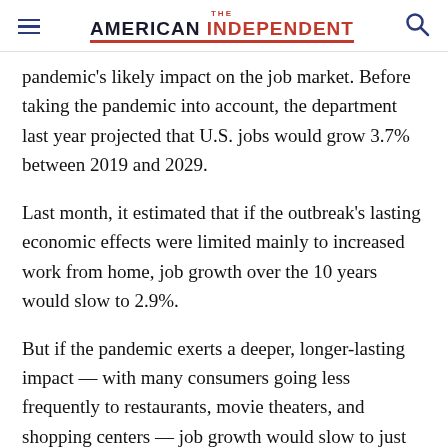THE AMERICAN INDEPENDENT
pandemic's likely impact on the job market. Before taking the pandemic into account, the department last year projected that U.S. jobs would grow 3.7% between 2019 and 2029.
Last month, it estimated that if the outbreak's lasting economic effects were limited mainly to increased work from home, job growth over the 10 years would slow to 2.9%.
But if the pandemic exerts a deeper, longer-lasting impact — with many consumers going less frequently to restaurants, movie theaters, and shopping centers — job growth would slow to just 1.9%, the department predicted. In that worst-case scenario, the department estimated, employment would tumble 13% for waiters and waitresses